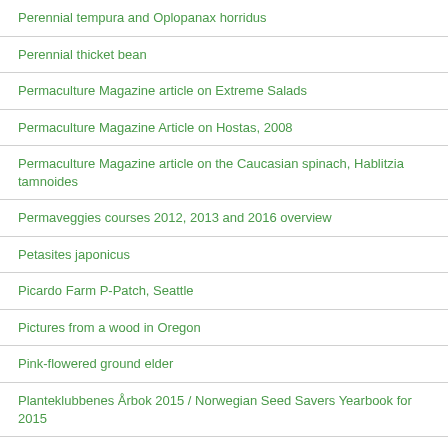Perennial tempura and Oplopanax horridus
Perennial thicket bean
Permaculture Magazine article on Extreme Salads
Permaculture Magazine Article on Hostas, 2008
Permaculture Magazine article on the Caucasian spinach, Hablitzia tamnoides
Permaveggies courses 2012, 2013 and 2016 overview
Petasites japonicus
Picardo Farm P-Patch, Seattle
Pictures from a wood in Oregon
Pink-flowered ground elder
Planteklubbenes Årbok 2015 / Norwegian Seed Savers Yearbook for 2015